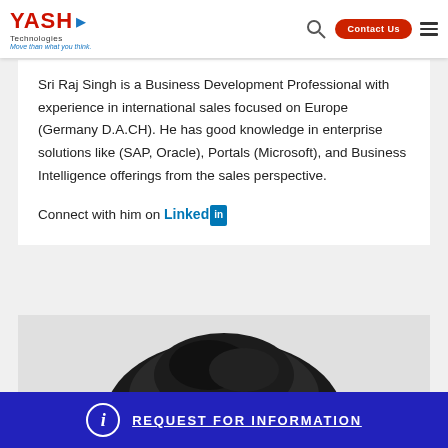YASH Technologies - Move than what you think.
Sri Raj Singh is a Business Development Professional with experience in international sales focused on Europe (Germany D.A.CH). He has good knowledge in enterprise solutions like (SAP, Oracle), Portals (Microsoft), and Business Intelligence offerings from the sales perspective.

Connect with him on LinkedIn
[Figure (photo): Partial photo of a person's head with dark hair, showing the top of the head against a light background]
REQUEST FOR INFORMATION